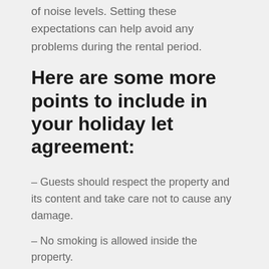of noise levels. Setting these expectations can help avoid any problems during the rental period.
Here are some more points to include in your holiday let agreement:
– Guests should respect the property and its content and take care not to cause any damage.
– No smoking is allowed inside the property.
– Please be considerate of neighbours when making noise.